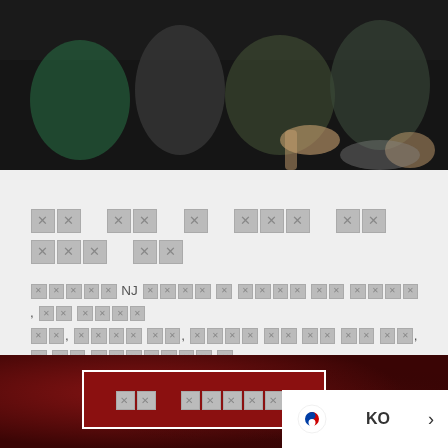[Figure (photo): Dark photo of people sitting together, possibly playing music or drumming, with hands visible holding instruments against a dark background.]
[Korean text rendered as tofu/boxes] - unrenderable characters
[Korean body text with NJ mention] - unrenderable characters ending with period
[Figure (photo): Dark red textured background section at the bottom of the page]
[Korean button text] - unrenderable characters with exclamation mark
KO